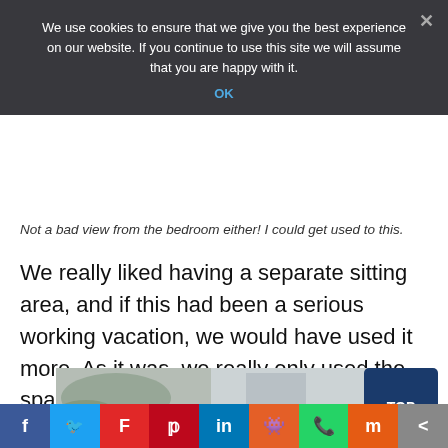We use cookies to ensure that we give you the best experience on our website. If you continue to use this site we will assume that you are happy with it.
OK
Not a bad view from the bedroom either! I could get used to this.
We really liked having a separate sitting room, and if this had been a serious working vacation, we would have used it more. As it was, we really only used the space to have easy access to our luggage.
[Figure (photo): Partial view of hotel room or outdoor scene at bottom of page]
TOP
Social share bar: Facebook, Twitter, Flipboard, Pinterest, LinkedIn, Reddit, WhatsApp, Mix, Share